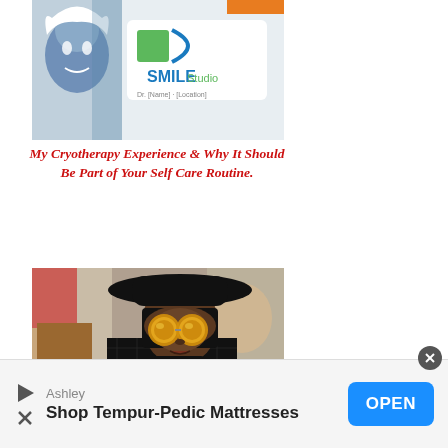[Figure (photo): Photo of a dental/smile studio booth with a logo reading 'SMILEStudio' in green and blue, with a painted face artwork on the left side]
My Cryotherapy Experience & Why It Should Be Part of Your Self Care Routine.
[Figure (photo): Photo of a person wearing a black wide-brim hat, round gold-tinted sunglasses, and a black mesh top, photographed outdoors]
Ashley
Shop Tempur-Pedic Mattresses